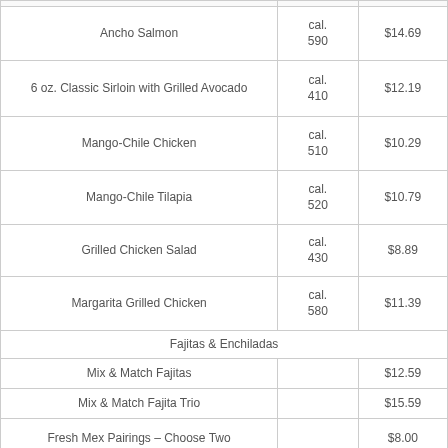| Item | Calories | Price |
| --- | --- | --- |
| Ancho Salmon | cal. 590 | $14.69 |
| 6 oz. Classic Sirloin with Grilled Avocado | cal. 410 | $12.19 |
| Mango-Chile Chicken | cal. 510 | $10.29 |
| Mango-Chile Tilapia | cal. 520 | $10.79 |
| Grilled Chicken Salad | cal. 430 | $8.89 |
| Margarita Grilled Chicken | cal. 580 | $11.39 |
| Fajitas & Enchiladas |  |  |
| Mix & Match Fajitas |  | $12.59 |
| Mix & Match Fajita Trio |  | $15.59 |
| Fresh Mex Pairings – Choose Two |  | $8.00 |
| Fresh Mex Pairings – Choose |  | $9.59 |